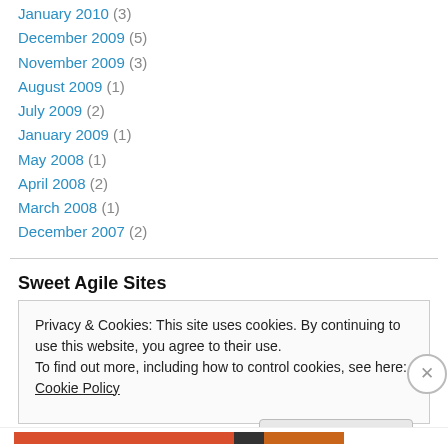January 2010 (3)
December 2009 (5)
November 2009 (3)
August 2009 (1)
July 2009 (2)
January 2009 (1)
May 2008 (1)
April 2008 (2)
March 2008 (1)
December 2007 (2)
Sweet Agile Sites
Privacy & Cookies: This site uses cookies. By continuing to use this website, you agree to their use. To find out more, including how to control cookies, see here: Cookie Policy
Close and accept